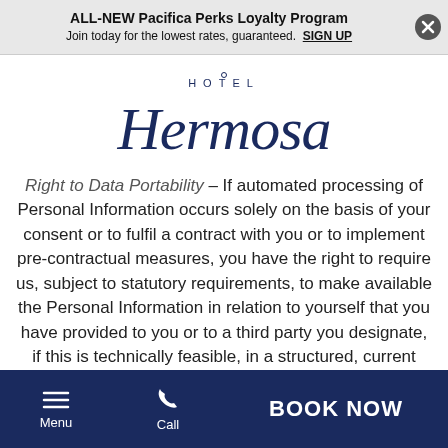ALL-NEW Pacifica Perks Loyalty Program
Join today for the lowest rates, guaranteed. SIGN UP
[Figure (logo): Hotel Hermosa logo in dark navy blue — 'HOTEL' in small spaced caps above the cursive 'Hermosa' script with a small ring diacritic above the O]
Right to Data Portability – If automated processing of Personal Information occurs solely on the basis of your consent or to fulfil a contract with you or to implement pre-contractual measures, you have the right to require us, subject to statutory requirements, to make available the Personal Information in relation to yourself that you have provided to you or to a third party you designate, if this is technically feasible, in a structured, current
Menu  Call  BOOK NOW